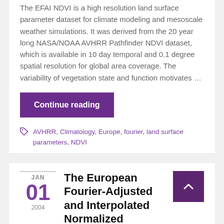The EFAI NDVI is a high resolution land surface parameter dataset for climate modeling and mesoscale weather simulations. It was derived from the 20 year long NASA/NOAA AVHRR Pathfinder NDVI dataset, which is available in 10 day temporal and 0.1 degree spatial resolution for global area coverage. The variability of vegetation state and function motivates …
Continue reading
AVHRR, Climatology, Europe, fourier, land surface parameters, NDVI
JAN 01 2004
The European Fourier-Adjusted and Interpolated Normalized Difference Vegetation Index